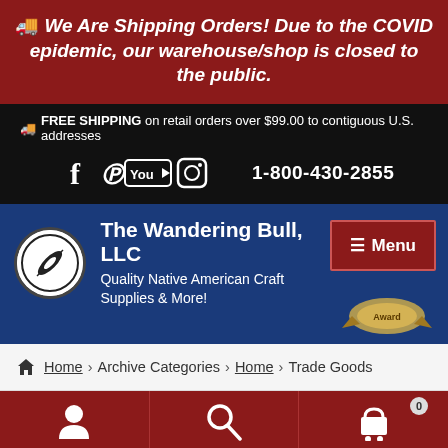🚚 We Are Shipping Orders! Due to the COVID epidemic, our warehouse/shop is closed to the public.
🚚 FREE SHIPPING on retail orders over $99.00 to contiguous U.S. addresses
1-800-430-2855
[Figure (logo): The Wandering Bull LLC logo with feather in circle]
The Wandering Bull, LLC
Quality Native American Craft Supplies & More!
≡ Menu
[Figure (other): Award badge/ribbon]
Home › Archive Categories › Home › Trade Goods
[Figure (other): User account icon]
[Figure (other): Search icon]
[Figure (other): Shopping cart icon with 0 badge]